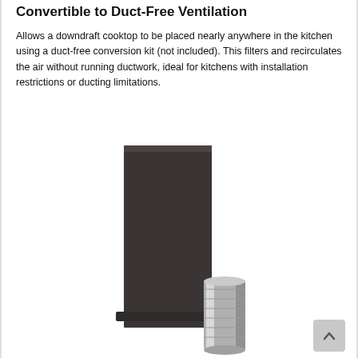Convertible to Duct-Free Ventilation
Allows a downdraft cooktop to be placed nearly anywhere in the kitchen using a duct-free conversion kit (not included). This filters and recirculates the air without running ductwork, ideal for kitchens with installation restrictions or ducting limitations.
[Figure (photo): A tall dark rectangular ventilation unit standing upright next to a silver cylindrical duct connector piece, both on a white background.]